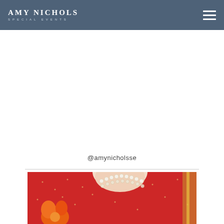AMY NICHOLS SPECIAL EVENTS
@amynicholsse
[Figure (photo): A woman wearing a red embroidered sari with pearl necklace and orange flower, partial view showing neckline and upper torso]